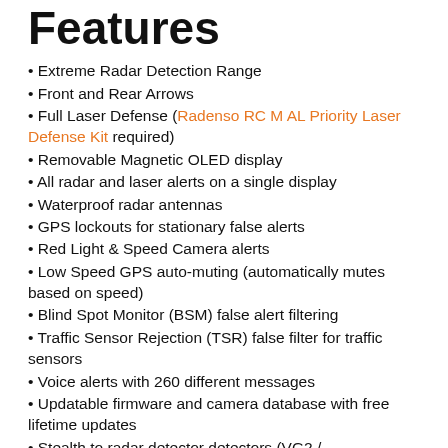Features
Extreme Radar Detection Range
Front and Rear Arrows
Full Laser Defense (Radenso RC M AL Priority Laser Defense Kit required)
Removable Magnetic OLED display
All radar and laser alerts on a single display
Waterproof radar antennas
GPS lockouts for stationary false alerts
Red Light & Speed Camera alerts
Low Speed GPS auto-muting (automatically mutes based on speed)
Blind Spot Monitor (BSM) false alert filtering
Traffic Sensor Rejection (TSR) false filter for traffic sensors
Voice alerts with 260 different messages
Updatable firmware and camera database with free lifetime updates
Stealth to radar detector detectors (VG2 /